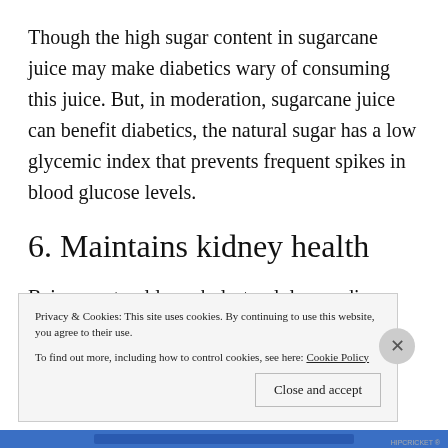Though the high sugar content in sugarcane juice may make diabetics wary of consuming this juice. But, in moderation, sugarcane juice can benefit diabetics, the natural sugar has a low glycemic index that prevents frequent spikes in blood glucose levels.
6. Maintains kidney health
Being a natural low-cholesterol, low-sodium food, with no saturated fats, sugarcane juice helps to keep the kidneys in prime...
Privacy & Cookies: This site uses cookies. By continuing to use this website, you agree to their use. To find out more, including how to control cookies, see here: Cookie Policy